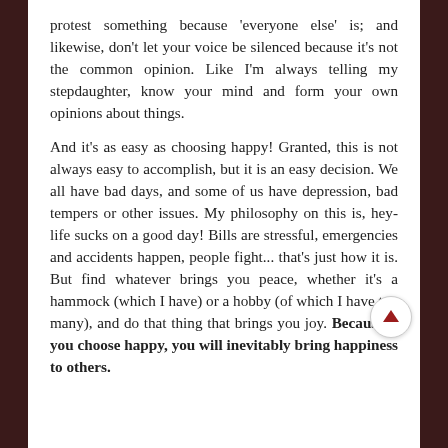protest something because 'everyone else' is; and likewise, don't let your voice be silenced because it's not the common opinion. Like I'm always telling my stepdaughter, know your mind and form your own opinions about things.
And it's as easy as choosing happy! Granted, this is not always easy to accomplish, but it is an easy decision. We all have bad days, and some of us have depression, bad tempers or other issues. My philosophy on this is, hey- life sucks on a good day! Bills are stressful, emergencies and accidents happen, people fight... that's just how it is. But find whatever brings you peace, whether it's a hammock (which I have) or a hobby (of which I have too many), and do that thing that brings you joy. Because if you choose happy, you will inevitably bring happiness to others.